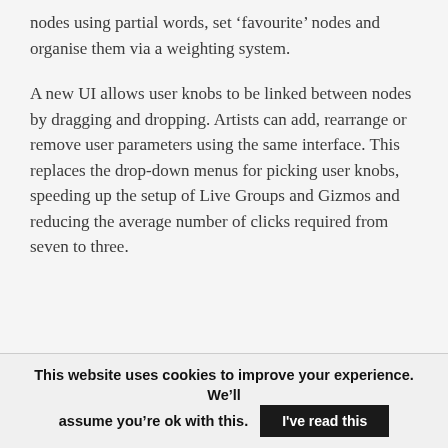nodes using partial words, set ‘favourite’ nodes and organise them via a weighting system.
A new UI allows user knobs to be linked between nodes by dragging and dropping. Artists can add, rearrange or remove user parameters using the same interface. This replaces the drop-down menus for picking user knobs, speeding up the setup of Live Groups and Gizmos and reducing the average number of clicks required from seven to three.
This website uses cookies to improve your experience. We’ll assume you’re ok with this.